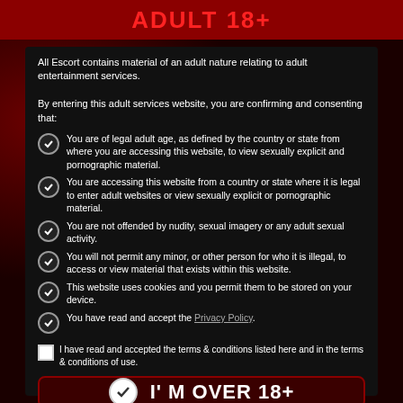ADULT 18+
All Escort contains material of an adult nature relating to adult entertainment services.

By entering this adult services website, you are confirming and consenting that:
You are of legal adult age, as defined by the country or state from where you are accessing this website, to view sexually explicit and pornographic material.
You are accessing this website from a country or state where it is legal to enter adult websites or view sexually explicit or pornographic material.
You are not offended by nudity, sexual imagery or any adult sexual activity.
You will not permit any minor, or other person for who it is illegal, to access or view material that exists within this website.
This website uses cookies and you permit them to be stored on your device.
You have read and accept the Privacy Policy.
I have read and accepted the terms & conditions listed here and in the terms & conditions of use.
I' M OVER 18+
LEAVE